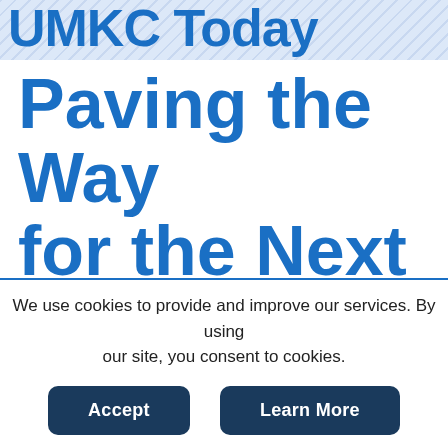UMKC Today
Paving the Way for the Next Generation
Two UMKC Law professors are
We use cookies to provide and improve our services. By using our site, you consent to cookies.